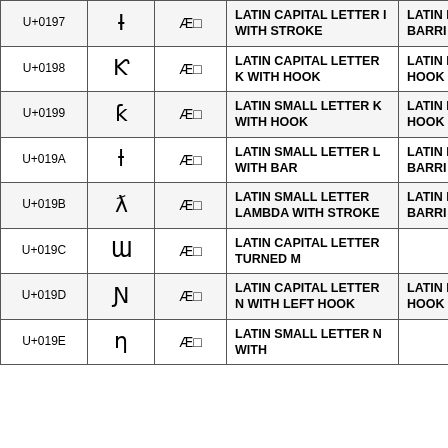| Code | Glyph | Entity | Name | Alias |
| --- | --- | --- | --- | --- |
| U+0197 | Ɨ | Æ | LATIN CAPITAL LETTER I WITH STROKE | LATIN LETTE BARRI |
| U+0198 | Ƙ | Æ | LATIN CAPITAL LETTER K WITH HOOK | LATIN LETTE HOOK |
| U+0199 | ƙ | Æ | LATIN SMALL LETTER K WITH HOOK | LATIN LETTE HOOK |
| U+019A | ƚ | Æ | LATIN SMALL LETTER L WITH BAR | LATIN LETTE BARRI |
| U+019B | ƛ | Æ | LATIN SMALL LETTER LAMBDA WITH STROKE | LATIN LETTE BARRI LAMB |
| U+019C | Ɯ | Æ | LATIN CAPITAL LETTER TURNED M |  |
| U+019D | Ɲ | Æ | LATIN CAPITAL LETTER N WITH LEFT HOOK | LATIN LETTE HOOK |
| U+019E | ƞ | Æ | LATIN SMALL LETTER N WITH |  |